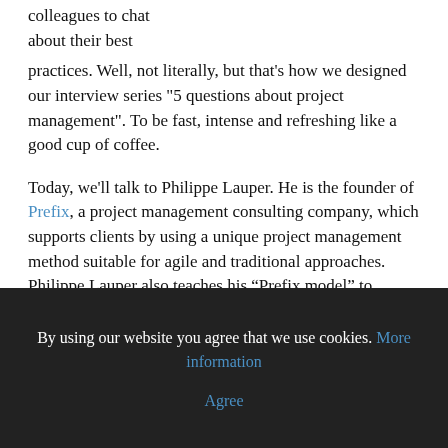colleagues to chat about their best practices. Well, not literally, but that's how we designed our interview series "5 questions about project management". To be fast, intense and refreshing like a good cup of coffee.
Today, we'll talk to Philippe Lauper. He is the founder of Prefix, a project management consulting company, which supports clients by using a unique project management method suitable for agile and traditional approaches. Philippe Lauper also teaches his “Prefix model” to individuals and corporations.
1. What is your favorite project management method?
By using our website you agree that we use cookies. More information
Agree